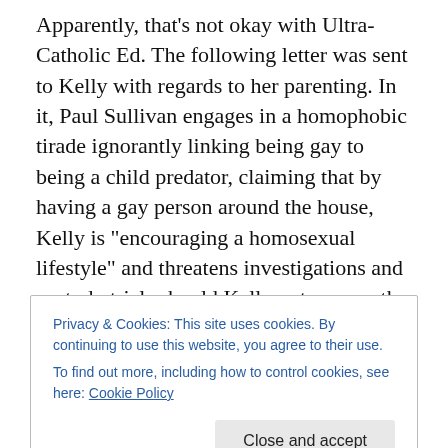Apparently, that's not okay with Ultra-Catholic Ed. The following letter was sent to Kelly with regards to her parenting. In it, Paul Sullivan engages in a homophobic tirade ignorantly linking being gay to being a child predator, claiming that by having a gay person around the house, Kelly is “encouraging a homosexual lifestyle” and threatens investigations and custody trials should Kelly not reverse the child’s dangerous course.
Additionally, the lawyer and father have been in communication with the Sheriff, the county commissioners,
Privacy & Cookies: This site uses cookies. By continuing to use this website, you agree to their use. To find out more, including how to control cookies, see here: Cookie Policy
letter also threatens to pursue criminal proceedings